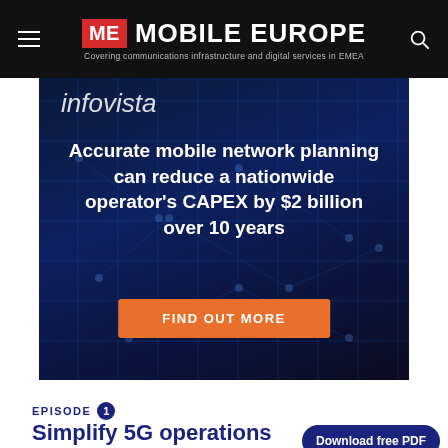ME MOBILE EUROPE — Covering communications infrastructure and digital services in EMEA
[Figure (infographic): Infovista advertisement banner with dark blue network background. Text reads: 'Accurate mobile network planning can reduce a nationwide operator's CAPEX by $2 billion over 10 years' with orange 'FIND OUT MORE' button.]
EPISODE 1
Simplify 5G operations in B2B2X
Download free PDF